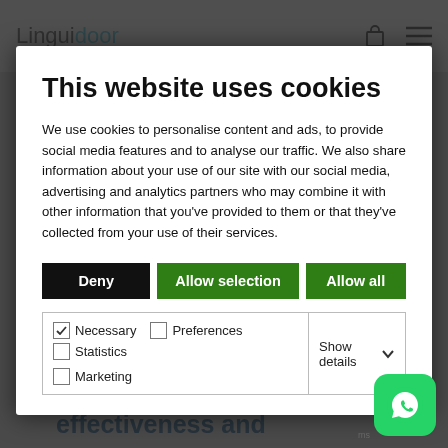Linguidoor
This website uses cookies
We use cookies to personalise content and ads, to provide social media features and to analyse our traffic. We also share information about your use of our site with our social media, advertising and analytics partners who may combine it with other information that you've provided to them or that they've collected from your use of their services.
Deny | Allow selection | Allow all
Necessary  Preferences  Statistics  Show details  Marketing
brands with the help of 100% original and SEO-friendly contents. To aim at your success and prosperity, Linguidoor guarantees great effectiveness and